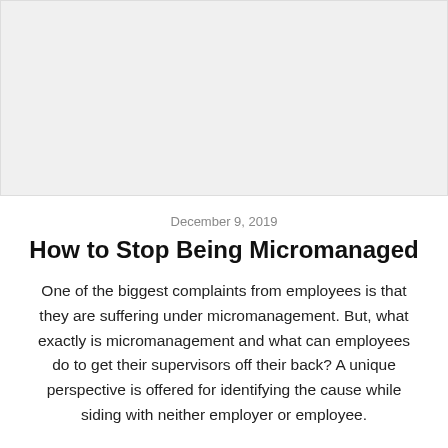[Figure (photo): Large image placeholder area with light gray background]
December 9, 2019
How to Stop Being Micromanaged
One of the biggest complaints from employees is that they are suffering under micromanagement. But, what exactly is micromanagement and what can employees do to get their supervisors off their back? A unique perspective is offered for identifying the cause while siding with neither employer or employee.